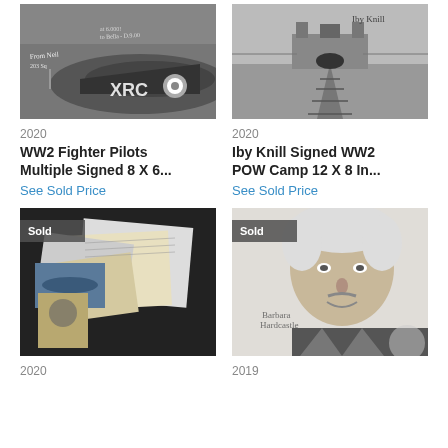[Figure (photo): Black and white photo of a WW2 fighter plane with markings 'XRC', with multiple handwritten signatures/inscriptions on the photo.]
[Figure (photo): Black and white photo of a POW camp entrance with railway tracks leading to a gate/watchtower (Auschwitz), with a signature 'Iby Knill' at the top right.]
2020
2020
WW2 Fighter Pilots Multiple Signed 8 X 6...
Iby Knill Signed WW2 POW Camp 12 X 8 In...
See Sold Price
See Sold Price
[Figure (photo): Photo of a collection of documents, military records, photographs including a submarine image, and WW2-related paperwork spread out on a dark background. 'Sold' badge visible.]
[Figure (photo): Black and white portrait photo of an elderly man with white hair, smiling, with a handwritten signature. 'Sold' badge visible.]
2020
2019